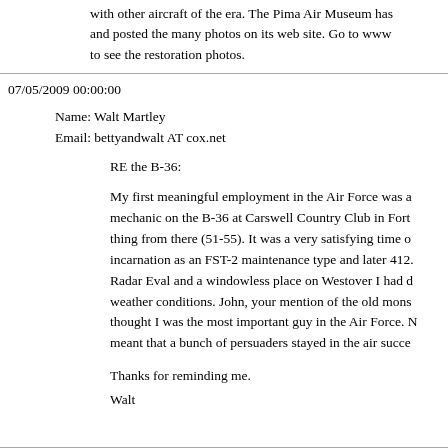with other aircraft of the era. The Pima Air Museum has and posted the many photos on its web site. Go to www to see the restoration photos.
07/05/2009 00:00:00
Name: Walt Martley
Email: bettyandwalt AT cox.net
RE the B-36:
My first meaningful employment in the Air Force was a mechanic on the B-36 at Carswell Country Club in Fort thing from there (51-55). It was a very satisfying time o incarnation as an FST-2 maintenance type and later 412. Radar Eval and a windowless place on Westover I had d weather conditions. John, your mention of the old mons thought I was the most important guy in the Air Force. N meant that a bunch of persuaders stayed in the air succe
Thanks for reminding me.
Walt